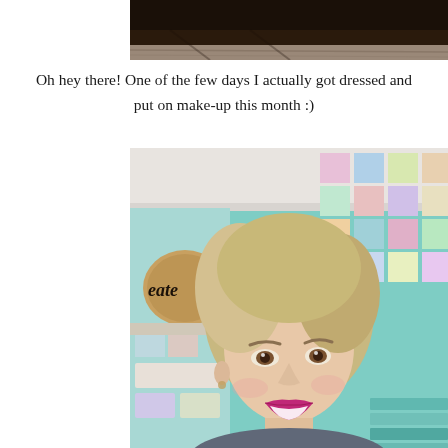[Figure (photo): Top portion of a photo showing a dark wood ceiling or surface, partially cropped at the top of the page.]
Oh hey there! One of the few days I actually got dressed and put on make-up this month :)
[Figure (photo): Selfie of a smiling blonde woman with short wavy hair, wearing pink/magenta lipstick, in a craft room with teal walls and colorful fabric swatches pinned to the wall behind her. A wooden sign with 'create' is visible on the left.]